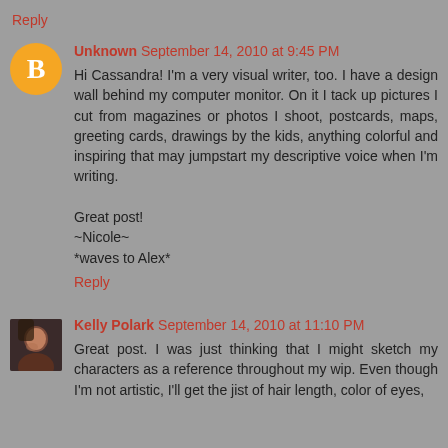Reply
Unknown September 14, 2010 at 9:45 PM
Hi Cassandra! I'm a very visual writer, too. I have a design wall behind my computer monitor. On it I tack up pictures I cut from magazines or photos I shoot, postcards, maps, greeting cards, drawings by the kids, anything colorful and inspiring that may jumpstart my descriptive voice when I'm writing.

Great post!
~Nicole~
*waves to Alex*
Reply
Kelly Polark September 14, 2010 at 11:10 PM
Great post. I was just thinking that I might sketch my characters as a reference throughout my wip. Even though I'm not artistic, I'll get the jist of hair length, color of eyes,